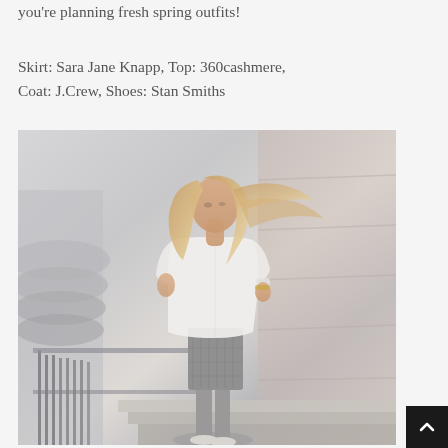you're planning fresh spring outfits!
Skirt: Sara Jane Knapp, Top: 360cashmere, Coat: J.Crew, Shoes: Stan Smiths
[Figure (photo): Woman with long flowing blonde hair wearing a white oversized shirt and grey patterned pencil skirt, standing on stairs in an urban architectural setting, photographed from a low angle looking back over her shoulder.]